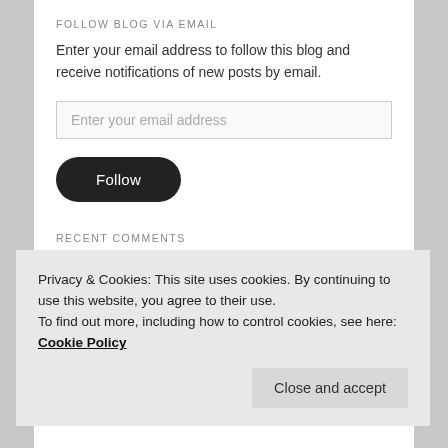FOLLOW BLOG VIA EMAIL
Enter your email address to follow this blog and receive notifications of new posts by email.
Enter your email address
Follow
RECENT COMMENTS
25 Reasons that you… on Pain wants to make you stronge…
Privacy & Cookies: This site uses cookies. By continuing to use this website, you agree to their use.
To find out more, including how to control cookies, see here: Cookie Policy
Close and accept